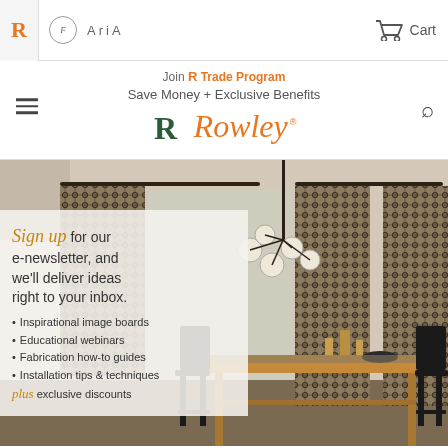R [logo] Fabricut [logo] AriA [logo] Cart
Join R Trade Program Save Money + Exclusive Benefits
[Figure (logo): Rowley brand logo with R icon in green and Rowley in orange italic]
[Figure (photo): Interior dining room photo showing patterned curtains on rods, a modern chandelier, and a wooden dining table with black chairs]
Sign up for our e-newsletter, and we'll deliver ideas right to your inbox. • Inspirational image boards • Educational webinars • Fabrication how-to guides • Installation tips & techniques plus exclusive discounts